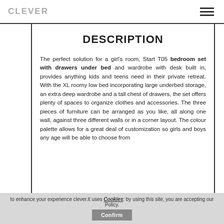CLEVER
DESCRIPTION
The perfect solution for a girl's room, Start T05 bedroom set with drawers under bed and wardrobe with desk built in, provides anything kids and teens need in their private retreat. With the XL roomy low bed incorporating large underbed storage, an extra deep wardrobe and a tall chest of drawers, the set offers plenty of spaces to organize clothes and accessories. The three pieces of furniture can be arranged as you like, all along one wall, against three different walls or in a corner layout. The colour palette allows for a great deal of customization so girls and boys any age will be able to choose from
to enhance your experience clever.it uses Cookies: by using this site, you are accepting our Policy. Confirm